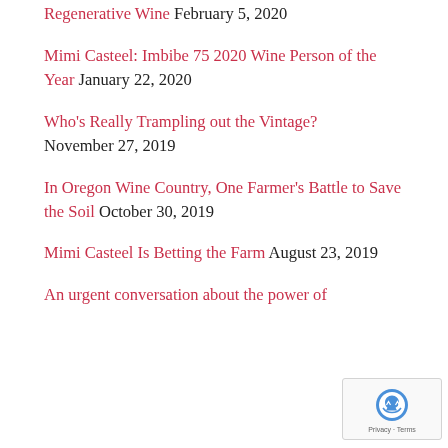Regenerative Wine February 5, 2020
Mimi Casteel: Imbibe 75 2020 Wine Person of the Year January 22, 2020
Who's Really Trampling out the Vintage? November 27, 2019
In Oregon Wine Country, One Farmer's Battle to Save the Soil October 30, 2019
Mimi Casteel Is Betting the Farm August 23, 2019
An urgent conversation about the power of…